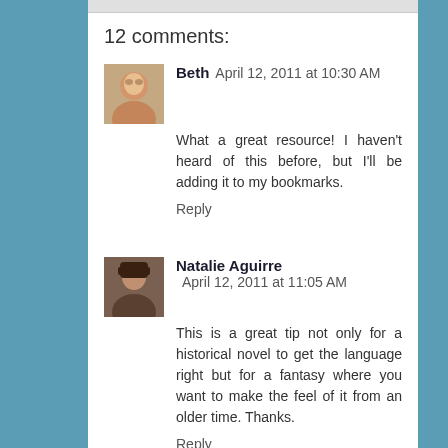12 comments:
Beth April 12, 2011 at 10:30 AM
What a great resource! I haven't heard of this before, but I'll be adding it to my bookmarks.
Reply
Natalie Aguirre April 12, 2011 at 11:05 AM
This is a great tip not only for a historical novel to get the language right but for a fantasy where you want to make the feel of it from an older time. Thanks.
Reply
Matthew MacNish April 12, 2011 at 11:44 AM
Ive been there. I love it. I already follow Darr's blog, he's awesome